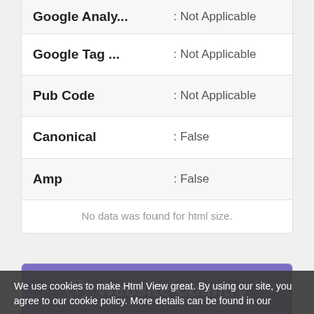| Field | Value |
| --- | --- |
| Google Analy... | : Not Applicable |
| Google Tag ... | : Not Applicable |
| Pub Code | : Not Applicable |
| Canonical | : False |
| Amp | : False |
No data was found for html size.
Website Country
Hosted Country Code :
FR
We use cookies to make Html View great. By using our site, you agree to our cookie policy. More details can be found in our